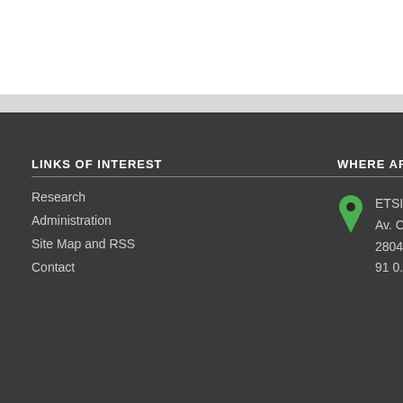LINKS OF INTEREST
Research
Administration
Site Map and RSS
Contact
WHERE ARE WE?
ETSI Telecom
Av. Complute...
28040 Madri...
91 0...